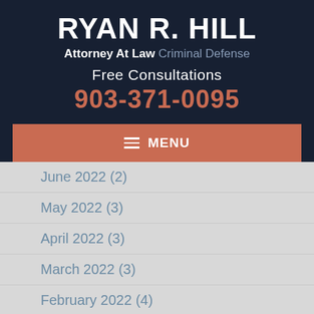RYAN R. HILL
Attorney At Law Criminal Defense
Free Consultations
903-371-0095
≡ MENU
June 2022 (2)
May 2022 (3)
April 2022 (3)
March 2022 (3)
February 2022 (4)
January 2022 (3)
December 2021 (4)
November 2021 (4)